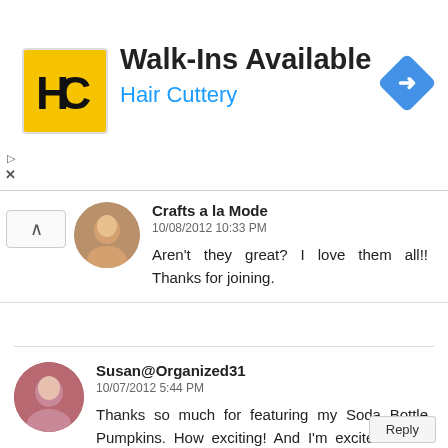[Figure (logo): Hair Cuttery advertisement banner with HC logo, 'Walk-Ins Available' heading, 'Hair Cuttery' subtext in blue, and a blue navigation diamond icon]
Crafts a la Mode
10/08/2012 10:33 PM
Aren't they great? I love them all!! Thanks for joining.
Susan@Organized31
10/07/2012 5:44 PM
Thanks so much for featuring my Soda Bottle Pumpkins. How exciting! And I'm excited about the other wonderful ideas.